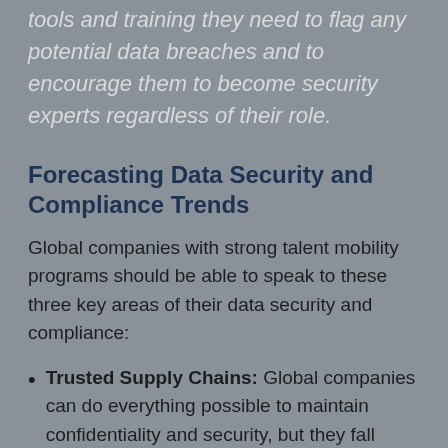tools and training they need to flag any potential data breaches and to encourage them to become security experts regardless of their role.
Forecasting Data Security and Compliance Trends
Global companies with strong talent mobility programs should be able to speak to these three key areas of their data security and compliance:
Trusted Supply Chains: Global companies can do everything possible to maintain confidentiality and security, but they fall short